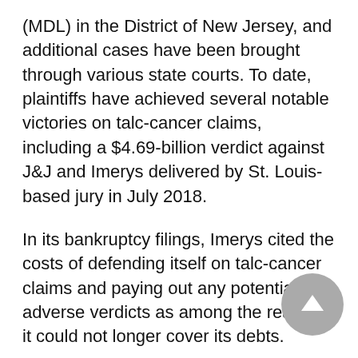(MDL) in the District of New Jersey, and additional cases have been brought through various state courts. To date, plaintiffs have achieved several notable victories on talc-cancer claims, including a $4.69-billion verdict against J&J and Imerys delivered by St. Louis-based jury in July 2018.
In its bankruptcy filings, Imerys cited the costs of defending itself on talc-cancer claims and paying out any potential adverse verdicts as among the reasons it could not longer cover its debts.
Evidence continues to mount suggesting that Johnson & Johnson's talcum-powder products, which also include its Shower to Shower brand, contain asbestos fibers and that company employees were aware of the risk going back decades but concealed the information rather informing regulators and consumers.